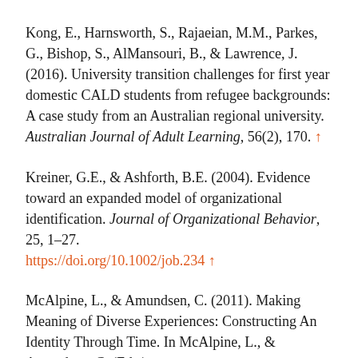Kong, E., Harnsworth, S., Rajaeian, M.M., Parkes, G., Bishop, S., AlMansouri, B., & Lawrence, J. (2016). University transition challenges for first year domestic CALD students from refugee backgrounds: A case study from an Australian regional university. Australian Journal of Adult Learning, 56(2), 170. ↑
Kreiner, G.E., & Ashforth, B.E. (2004). Evidence toward an expanded model of organizational identification. Journal of Organizational Behavior, 25, 1–27. https://doi.org/10.1002/job.234 ↑
McAlpine, L., & Amundsen, C. (2011). Making Meaning of Diverse Experiences: Constructing An Identity Through Time. In McAlpine, L., & Amundsen, C. (Eds.) Beyond Education: Toward development of a framework for...